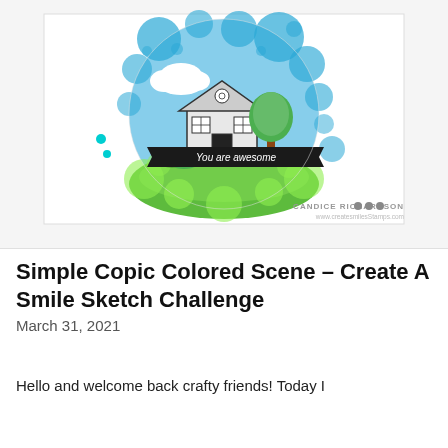[Figure (photo): A handmade greeting card featuring a circular scene with bubble/polka dot background in blue and green tones. The scene shows a house with a tree, cloud, and grass in a circular vignette. A black banner reads 'You are awesome'. Watermark reads 'CANDICE RICHARDSON' and 'www.createsmilesStamps.com'.]
Simple Copic Colored Scene – Create A Smile Sketch Challenge
March 31, 2021
Hello and welcome back crafty friends! Today I